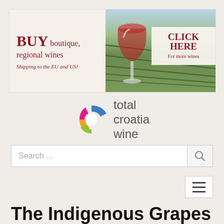[Figure (other): Banner advertisement for boutique regional wines. Left side: 'BUY boutique, regional wines. Shipping to the EU and US!' in dark red serif text on cream background. Right side: photo of vineyard with wine glass, and a 'CLICK HERE For more wines' overlay box.]
[Figure (logo): Total Croatia Wine logo: colorful C-shaped icon (blue, pink, orange, green segments) next to gray text 'total croatia wine']
Search ...
The Indigenous Grapes of Croatia: Malvazija
By Total Croatia Wine, 30 Jul 2016, 20:01 PM    Grapes